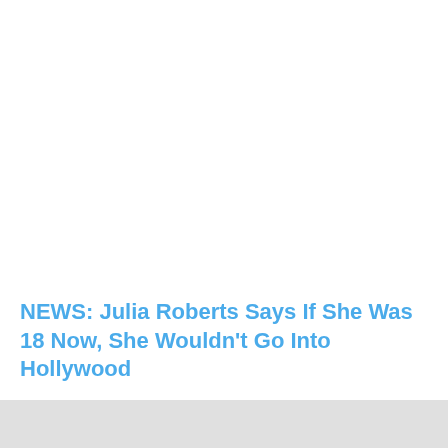[Figure (photo): Large image placeholder area at top of page, white/blank]
NEWS: Julia Roberts Says If She Was 18 Now, She Wouldn't Go Into Hollywood
"I'm here for a job!" Aniston's character says in the clip